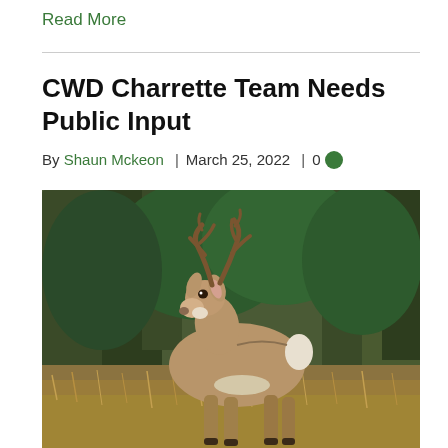Read More
CWD Charrette Team Needs Public Input
By Shaun Mckeon | March 25, 2022 | 0
[Figure (photo): A white-tailed buck deer standing in a field of golden grass facing the camera, with trees and forest in the background.]